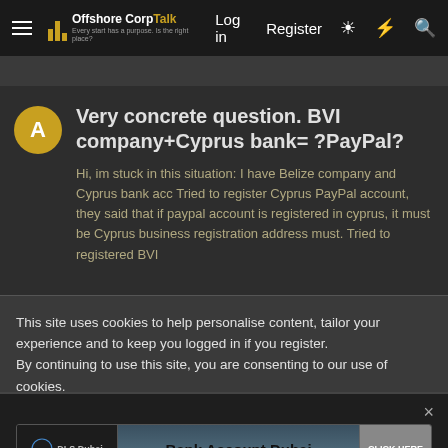Offshore Corp Talk — Log in | Register
Very concrete question. BVI company+Cyprus bank= ?PayPal?
Hi, im stuck in this situation: I have Belize company and Cyprus bank acc Tried to register Cyprus PayPal account, they said that if paypal account is registered in cyprus, it must be Cyprus business registration address must. Tried to registered BVI
This site uses cookies to help personalise content, tailor your experience and to keep you logged in if you register.
By continuing to use this site, you are consenting to our use of cookies.
[Figure (screenshot): Advertisement banner for DLS Dubai — Bank Account Dubai with CLICK HERE button]